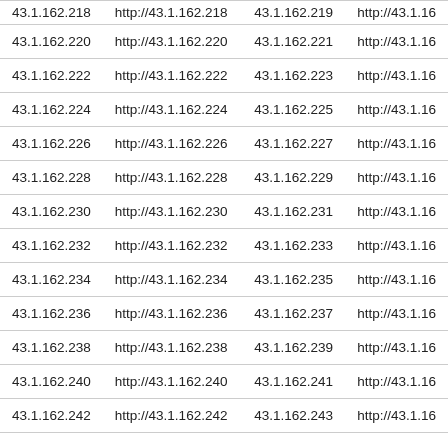| 43.1.162.218 | http://43.1.162.218 | 43.1.162.219 | http://43.1.16 |
| 43.1.162.220 | http://43.1.162.220 | 43.1.162.221 | http://43.1.16 |
| 43.1.162.222 | http://43.1.162.222 | 43.1.162.223 | http://43.1.16 |
| 43.1.162.224 | http://43.1.162.224 | 43.1.162.225 | http://43.1.16 |
| 43.1.162.226 | http://43.1.162.226 | 43.1.162.227 | http://43.1.16 |
| 43.1.162.228 | http://43.1.162.228 | 43.1.162.229 | http://43.1.16 |
| 43.1.162.230 | http://43.1.162.230 | 43.1.162.231 | http://43.1.16 |
| 43.1.162.232 | http://43.1.162.232 | 43.1.162.233 | http://43.1.16 |
| 43.1.162.234 | http://43.1.162.234 | 43.1.162.235 | http://43.1.16 |
| 43.1.162.236 | http://43.1.162.236 | 43.1.162.237 | http://43.1.16 |
| 43.1.162.238 | http://43.1.162.238 | 43.1.162.239 | http://43.1.16 |
| 43.1.162.240 | http://43.1.162.240 | 43.1.162.241 | http://43.1.16 |
| 43.1.162.242 | http://43.1.162.242 | 43.1.162.243 | http://43.1.16 |